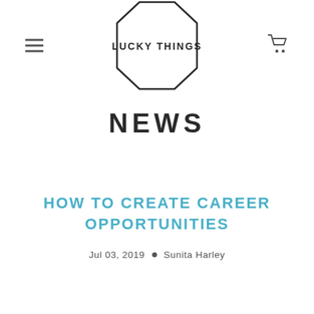[Figure (logo): Lucky Things logo: octagonal outline shape with text 'LUCKY THINGS' inside]
NEWS
HOW TO CREATE CAREER OPPORTUNITIES
Jul 03, 2019 • Sunita Harley